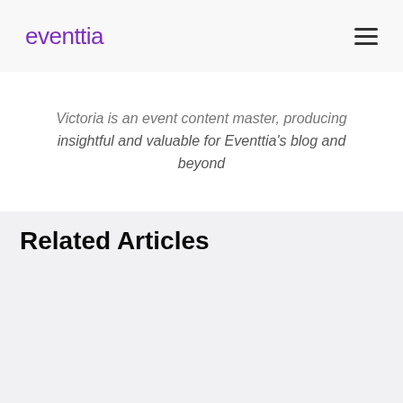eventtia
Victoria is an event content master, producing insightful and valuable for Eventtia's blog and beyond
Related Articles
[Figure (illustration): Dark card with a 3D purple/violet horseshoe magnet on a dark green radial gradient background, floating metallic spheres, and teal border accents]